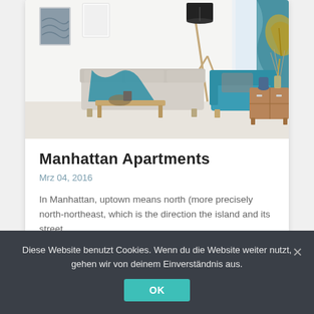[Figure (photo): Interior photo of a modern living room with a teal accent chair, beige sofa with teal throw blanket, wooden floor lamp with black shade, wooden side table with drawer unit, teal curtains and a gold monstera leaf decoration on the right.]
Manhattan Apartments
Mrz 04, 2016
In Manhattan, uptown means north (more precisely north-northeast, which is the direction the island and its street …
Diese Website benutzt Cookies. Wenn du die Website weiter nutzt, gehen wir von deinem Einverständnis aus.